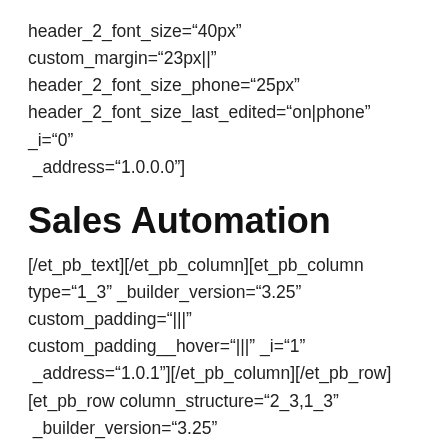header_2_font_size="40px" custom_margin="23px||" header_2_font_size_phone="25px" header_2_font_size_last_edited="on|phone" _i="0" _address="1.0.0.0"]
Sales Automation
[/et_pb_text][/et_pb_column][et_pb_column type="1_3" _builder_version="3.25" custom_padding="|||" custom_padding__hover="|||" _i="1" _address="1.0.1"][/et_pb_column][/et_pb_row][et_pb_row column_structure="2_3,1_3" _builder_version="3.25" custom_padding="0px|||||" _i="1" _address="1.1"][et_pb_column type="2_3"